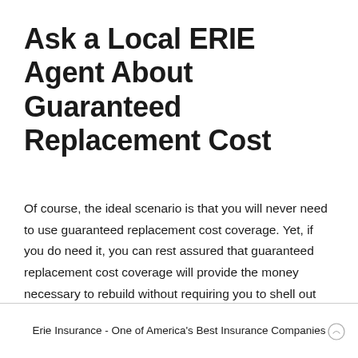Ask a Local ERIE Agent About Guaranteed Replacement Cost
Of course, the ideal scenario is that you will never need to use guaranteed replacement cost coverage. Yet, if you do need it, you can rest assured that guaranteed replacement cost coverage will provide the money necessary to rebuild without requiring you to shell out additional cash.
Erie Insurance - One of America's Best Insurance Companies